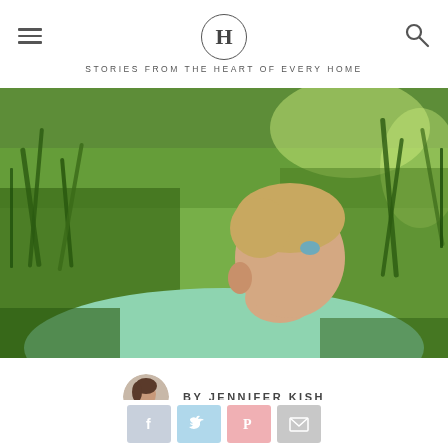H — STORIES FROM THE HEART OF EVERY HOME
[Figure (photo): Blond boy in green shirt lying on grass, looking up at the sky with hands behind head, surrounded by green grass and plants in a summer outdoor setting.]
BY JENNIFER KISH
[Figure (infographic): Social share buttons row: Facebook (blue-grey), Twitter (light blue), Pinterest (pink-red), Email (grey)]